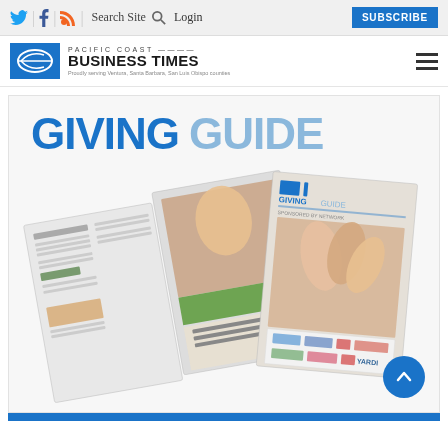Twitter | Facebook | RSS | Search Site | Login | SUBSCRIBE
[Figure (logo): Pacific Coast Business Times logo with blue shield icon and text]
[Figure (illustration): Giving Guide promotional image with large text GIVING GUIDE in blue and light blue, and two magazine covers displayed below]
Blue bar footer